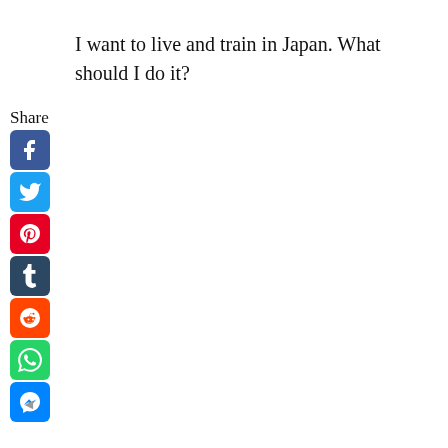I want to live and train in Japan. What should I do it?
Share
[Figure (infographic): Social sharing icons: Facebook (blue), Twitter (light blue), Pinterest (red), Tumblr (dark blue), Reddit (orange), WhatsApp (green), Messenger (blue). Each is a rounded square icon with the respective logo in white.]
◄